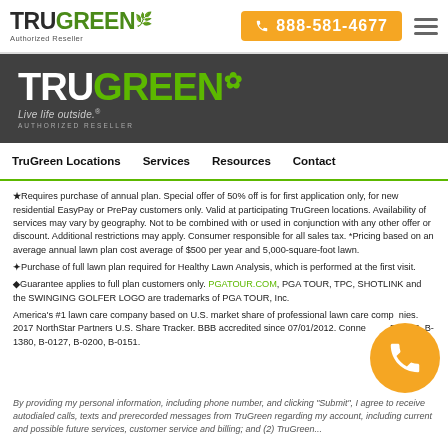TruGreen Authorized Reseller | 888-581-4677
[Figure (logo): TruGreen Live life outside. Authorized Reseller logo on dark background]
TruGreen Locations  Services  Resources  Contact
★Requires purchase of annual plan. Special offer of 50% off is for first application only, for new residential EasyPay or PrePay customers only. Valid at participating TruGreen locations. Availability of services may vary by geography. Not to be combined with or used in conjunction with any other offer or discount. Additional restrictions may apply. Consumer responsible for all sales tax. *Pricing based on an average annual lawn plan cost average of $500 per year and 5,000-square-foot lawn.
✦Purchase of full lawn plan required for Healthy Lawn Analysis, which is performed at the first visit.
◆Guarantee applies to full plan customers only. PGATOUR.COM, PGA TOUR, TPC, SHOTLINK and the SWINGING GOLFER LOGO are trademarks of PGA TOUR, Inc.
America's #1 lawn care company based on U.S. market share of professional lawn care companies. 2017 NorthStar Partners U.S. Share Tracker. BBB accredited since 07/01/2012. Connecticut B-0153, B-1380, B-0127, B-0200, B-0151.
By providing my personal information, including phone number, and clicking "Submit", I agree to receive autodialed calls, texts and prerecorded messages from TruGreen regarding my account, including current and possible future services, customer service and billing; and (2) TruGreen...